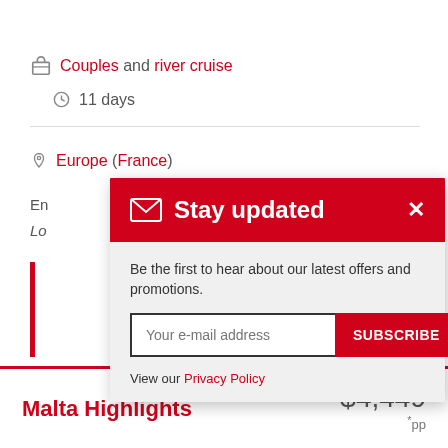Couples and river cruise
11 days
Europe (France)
En
Lo
Stay updated
Be the first to hear about our latest offers and promotions.
Your e-mail address
SUBSCRIBE
View our Privacy Policy
Malta Highlights
$4,449
* pp